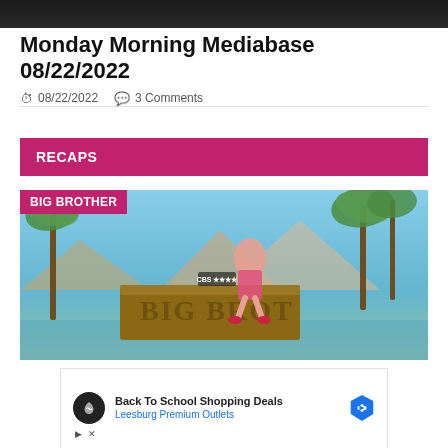[Figure (photo): Top dark banner image]
Monday Morning Mediabase 08/22/2022
08/22/2022   3 Comments
RECAPS
[Figure (photo): Big Brother CBS promotional image with woman sitting on Big Brother logo block, palm trees and mountains in background]
[Figure (infographic): Advertisement: Back To School Shopping Deals - Leesburg Premium Outlets]